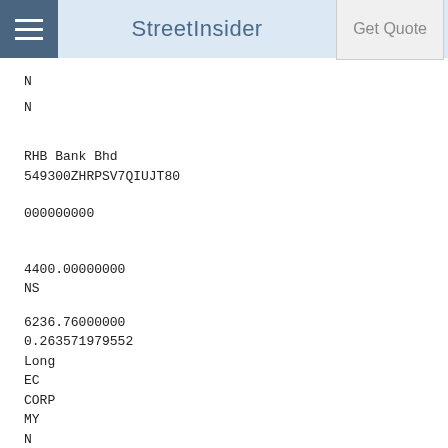StreetInsider | Get Quote
N
N
RHB Bank Bhd
549300ZHRPSV7QIUJT80
000000000
4400.00000000
NS
6236.76000000
0.263571979552
Long
EC
CORP
MY
N
1